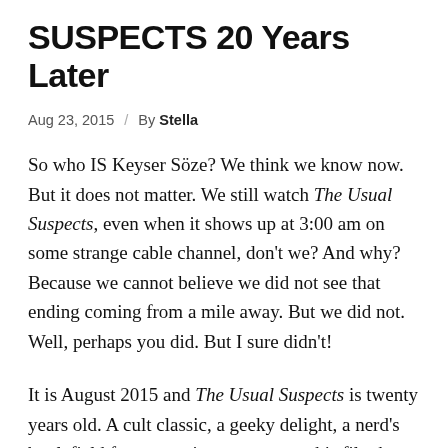SUSPECTS 20 Years Later
Aug 23, 2015  /  By Stella
So who IS Keyser Söze? We think we know now. But it does not matter. We still watch The Usual Suspects, even when it shows up at 3:00 am on some strange cable channel, don't we? And why? Because we cannot believe we did not see that ending coming from a mile away. But we did not. Well, perhaps you did. But I sure didn't!
It is August 2015 and The Usual Suspects is twenty years old. A cult classic, a geeky delight, a nerd's battlefield for contentious argument–this film has stood the test of time, the intense dissection by film fans and script-writing